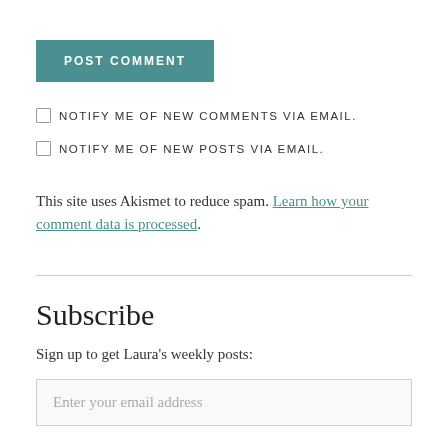POST COMMENT
NOTIFY ME OF NEW COMMENTS VIA EMAIL.
NOTIFY ME OF NEW POSTS VIA EMAIL.
This site uses Akismet to reduce spam. Learn how your comment data is processed.
Subscribe
Sign up to get Laura's weekly posts:
Enter your email address